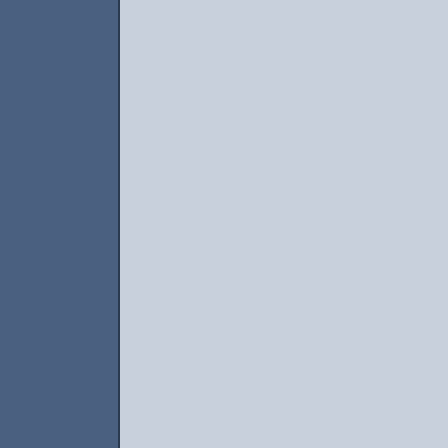sure this varies by dealership though.
Thankfully, we've only had to take our 2005 Sienna in for routine service and twice for different recalls.
Louis L'Amour, "To make democracy work, we must be a notion of participants, not simply observers, One who does not vote has no right to complain." MineCraft? mc.applenova.com | Visit us! | Maybe someday I'll proof read, until then deal with it.
Wyatt
Veteran Member
Join Date: Mar 2005
Location: Near Indianapolis
2008-08-31, 20:44
I've not had to deal with the service department yet, but the Toyota dealership my wife and I bought our new Yaris from in June was great. We've not been back yet, but I'm